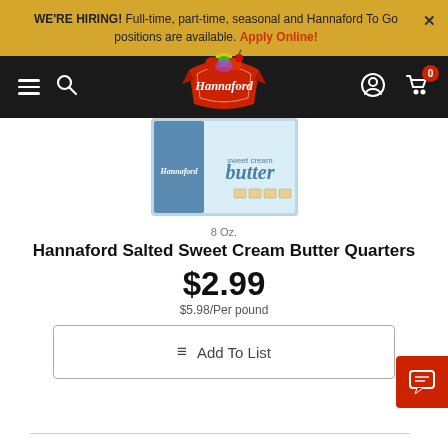WE'RE HIRING! Full-time, part-time, seasonal and Hannaford To Go positions are available. Apply Online!
[Figure (logo): Hannaford supermarket logo with fruit imagery and red banner, navigation bar with hamburger menu, search, user, and cart icons]
[Figure (photo): Hannaford Salted Sweet Cream Butter Quarters product box on blue background packaging]
8 Oz.
Hannaford Salted Sweet Cream Butter Quarters
$2.99
$5.98/Per pound
Add To List